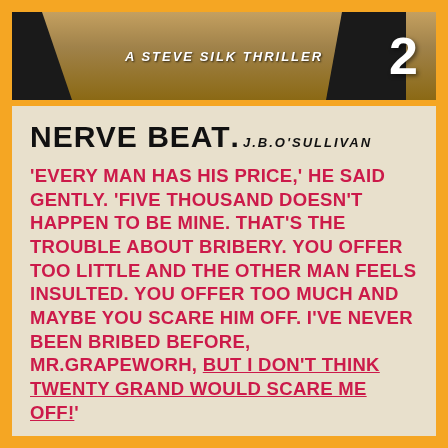[Figure (illustration): Top portion of a book cover showing 'A Steve Silk Thriller' subtitle in italic white text and the number '2' on the right, against a dark and warm-toned background with dark shapes suggesting a figure or weapon.]
NERVE BEAT  J. B. O'SULLIVAN
'EVERY MAN HAS HIS PRICE,' HE SAID GENTLY. 'FIVE THOUSAND DOESN'T HAPPEN TO BE MINE. THAT'S THE TROUBLE ABOUT BRIBERY. YOU OFFER TOO LITTLE AND THE OTHER MAN FEELS INSULTED. YOU OFFER TOO MUCH AND MAYBE YOU SCARE HIM OFF. I'VE NEVER BEEN BRIBED BEFORE, MR. GRAPEWORH, BUT I DON'T THINK TWENTY GRAND WOULD SCARE ME OFF!'